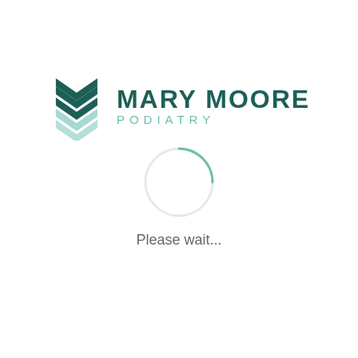[Figure (logo): Mary Moore Podiatry logo with stylized chevron/shield icon in teal and dark teal, followed by text 'MARY MOORE' in dark teal bold and 'PODIATRY' in light teal spaced letters]
[Figure (other): Circular loading spinner — a thin circle outline in light teal with a small arc gap at top-right, indicating a loading state]
Please wait...